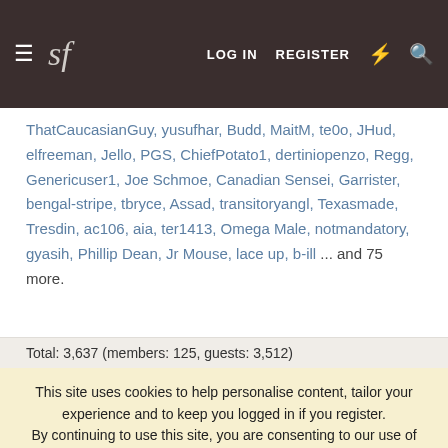sf | LOG IN | REGISTER
ThatCaucasianGuy, yusufhar, Budd, MaitM, te0o, JHud, elfreeman, Jello, PGS, ChiefPotato1, dertiniopenzo, Regg, Genericuser1, Joe Schmoe, Canadian Sensei, Garrister, bengal-stripe, tbryce, Assad, transitoryangl, Texasmade, Tresdin, ac106, aia, ter1413, Omega Male, notmandatory, gyasih, Phillip Dean, Jr Mouse, lace up, b-ill ... and 75 more.
Total: 3,637 (members: 125, guests: 3,512)
This site uses cookies to help personalise content, tailor your experience and to keep you logged in if you register.
By continuing to use this site, you are consenting to our use of cookies, our Privacy Policy, and Terms and Conditions.
ACCEPT | LEARN MORE...
Messages: 10,222,855
Members: 214,960
Latest member: miquiztli
» FOLLOW STYLEFORUM ON: